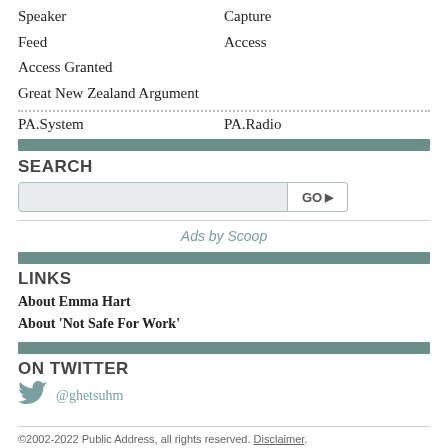Speaker	Capture
Feed	Access
Access Granted
Great New Zealand Argument
PA.System	PA.Radio
SEARCH
Ads by Scoop
LINKS
About Emma Hart
About 'Not Safe For Work'
ON TWITTER
@ghetsuhm
©2002-2022 Public Address, all rights reserved. Disclaimer. Made by Cactuslab. Powered by Supermodel.